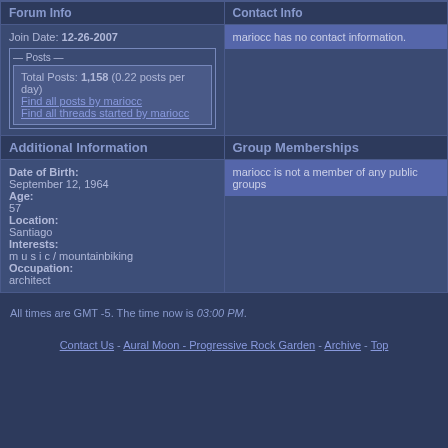Forum Info
Contact Info
Join Date: 12-26-2007
Posts
Total Posts: 1,158 (0.22 posts per day)
Find all posts by mariocc
Find all threads started by mariocc
mariocc has no contact information.
Additional Information
Group Memberships
Date of Birth:
September 12, 1964
Age:
57
Location:
Santiago
Interests:
m u s i c / mountainbiking
Occupation:
architect
mariocc is not a member of any public groups
All times are GMT -5. The time now is 03:00 PM.
Contact Us - Aural Moon - Progressive Rock Garden - Archive - Top